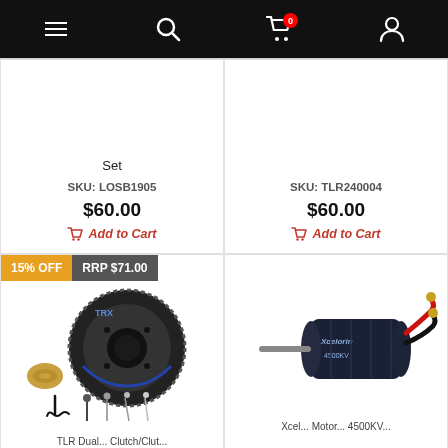Navigation bar with menu, search, cart (0 items), account icons
Set
SKU: LOSB1905
$60.00
Add to Cart
SKU: TLR240004
$60.00
Add to Cart
[Figure (photo): RC car clutch assembly with spur gear, brass collet, clutch springs and pins — TRX branded. 15% OFF badge, RRP $71.00 badge.]
[Figure (photo): Xcelorin brushless motor (dark blue/black) with red and black wires and gold bullet connectors.]
TLR Dual... Clutch/Clut...
Xcel... Motor... 4500KV...